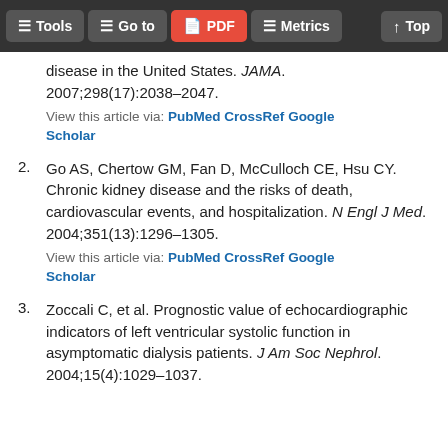Tools  Go to  PDF  Metrics  Top
disease in the United States. JAMA. 2007;298(17):2038–2047.
View this article via: PubMed CrossRef Google Scholar
2. Go AS, Chertow GM, Fan D, McCulloch CE, Hsu CY. Chronic kidney disease and the risks of death, cardiovascular events, and hospitalization. N Engl J Med. 2004;351(13):1296–1305.
View this article via: PubMed CrossRef Google Scholar
3. Zoccali C, et al. Prognostic value of echocardiographic indicators of left ventricular systolic function in asymptomatic dialysis patients. J Am Soc Nephrol. 2004;15(4):1029–1037.